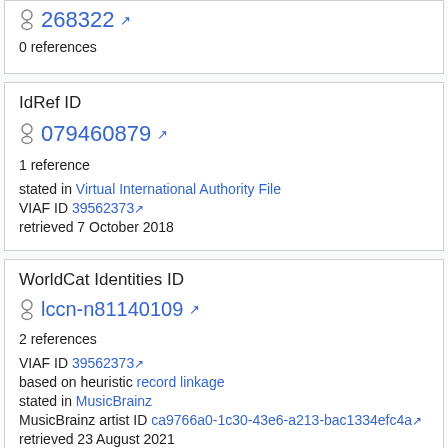0 references
IdRef ID
079460879
1 reference
stated in Virtual International Authority File
VIAF ID 39562373
retrieved 7 October 2018
WorldCat Identities ID
lccn-n81140109
2 references
VIAF ID 39562373
based on heuristic record linkage
stated in MusicBrainz
MusicBrainz artist ID ca9766a0-1c30-43e6-a213-bac1334efc4a
retrieved 23 August 2021